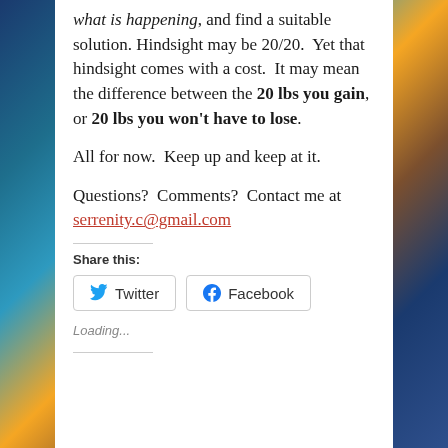what is happening, and find a suitable solution. Hindsight may be 20/20.  Yet that hindsight comes with a cost.  It may mean the difference between the 20 lbs you gain, or 20 lbs you won't have to lose.
All for now.  Keep up and keep at it.
Questions?  Comments?  Contact me at serrenity.c@gmail.com
Share this:
Twitter   Facebook
Loading...